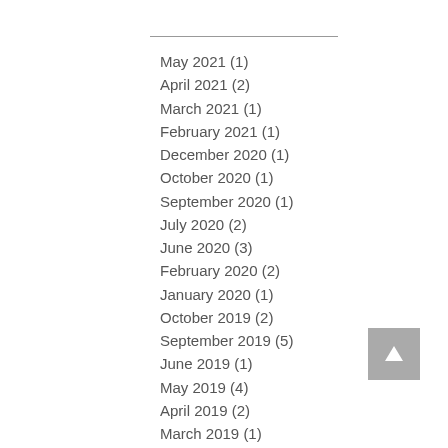May 2021 (1)
April 2021 (2)
March 2021 (1)
February 2021 (1)
December 2020 (1)
October 2020 (1)
September 2020 (1)
July 2020 (2)
June 2020 (3)
February 2020 (2)
January 2020 (1)
October 2019 (2)
September 2019 (5)
June 2019 (1)
May 2019 (4)
April 2019 (2)
March 2019 (1)
January 2019 (2)